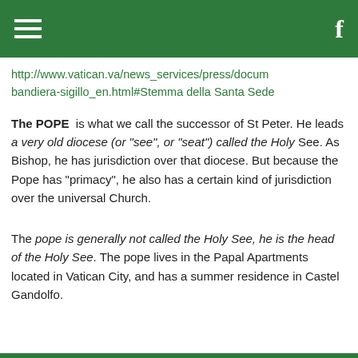≡  f
http://www.vatican.va/news_services/press/docum bandiera-sigillo_en.html#Stemma della Santa Sede
The POPE  is what we call the successor of St Peter. He leads a very old diocese (or "see", or "seat") called the Holy See. As Bishop, he has jurisdiction over that diocese. But because the Pope has "primacy", he also has a certain kind of jurisdiction over the universal Church.
The pope is generally not called the Holy See, he is the head of the Holy See. The pope lives in the Papal Apartments located in Vatican City, and has a summer residence in Castel Gandolfe